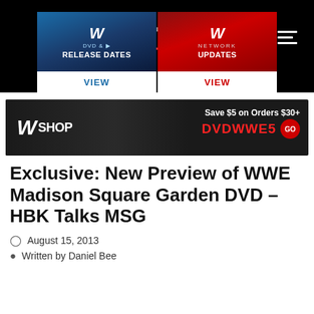WDN Wrestling DVD Network
[Figure (screenshot): WWE DVD & Blu-ray Release Dates navigation button (blue background with WWE logo)]
[Figure (screenshot): WWE Network Updates navigation button (red background with WWE logo)]
[Figure (screenshot): WWE Shop advertisement banner - Save $5 on Orders $30+ with code DVDWWE5]
Exclusive: New Preview of WWE Madison Square Garden DVD – HBK Talks MSG
August 15, 2013
Written by Daniel Bee